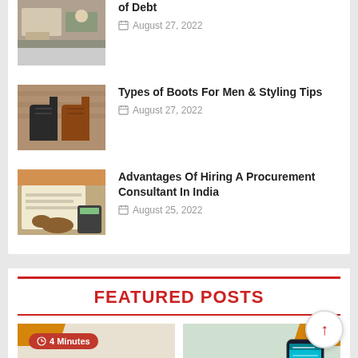[Figure (photo): Cropped photo of a person typing on a laptop at a desk]
of Debt
August 27, 2022
[Figure (photo): Photo of black and brown leather boots on a brick background]
Types of Boots For Men & Styling Tips
August 27, 2022
[Figure (photo): Photo of hands working on documents with a calculator]
Advantages Of Hiring A Procurement Consultant In India
August 25, 2022
FEATURED POSTS
[Figure (screenshot): Featured post card with V3CUBE logo and 4 Minutes badge]
[Figure (screenshot): Featured post card with phone screenshot on teal background]